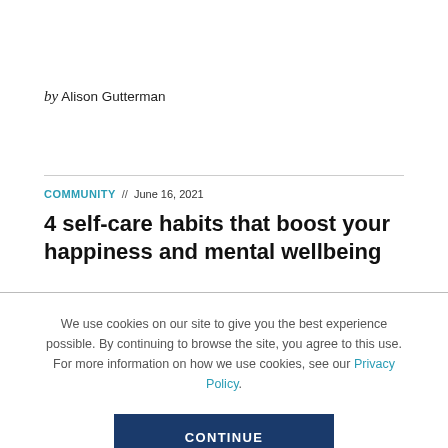by Alison Gutterman
COMMUNITY // June 16, 2021
4 self-care habits that boost your happiness and mental wellbeing
We use cookies on our site to give you the best experience possible. By continuing to browse the site, you agree to this use. For more information on how we use cookies, see our Privacy Policy.
CONTINUE